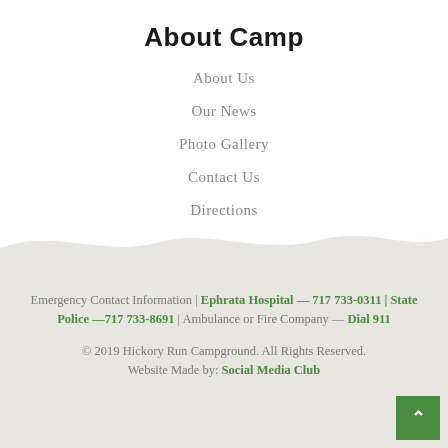About Camp
About Us
Our News
Photo Gallery
Contact Us
Directions
Emergency Contact Information | Ephrata Hospital — 717 733-0311 | State Police —717 733-8691 | Ambulance or Fire Company — Dial 911
© 2019 Hickory Run Campground. All Rights Reserved.
Website Made by: Social Media Club